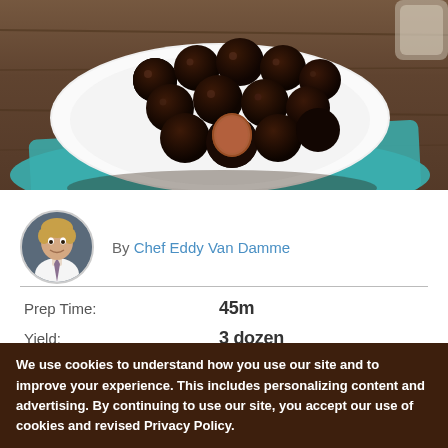[Figure (photo): Chocolate truffles piled on a white oval plate on a teal napkin on a wooden table, one truffle cut in half showing dark chocolate interior]
By Chef Eddy Van Damme
Prep Time: 45m
Yield: 3 dozen
Allow to firm for 2-4
We use cookies to understand how you use our site and to improve your experience. This includes personalizing content and advertising. By continuing to use our site, you accept our use of cookies and revised Privacy Policy.